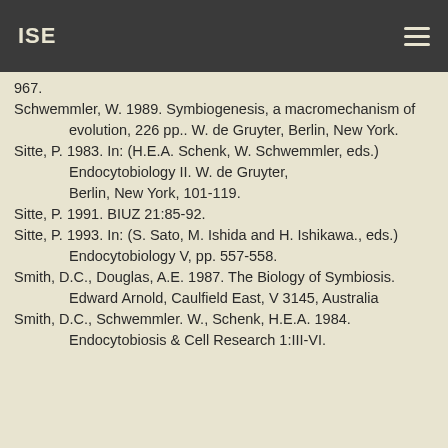ISE
967.
Schwemmler, W. 1989. Symbiogenesis, a macromechanism of evolution, 226 pp.. W. de Gruyter, Berlin, New York.
Sitte, P. 1983. In: (H.E.A. Schenk, W. Schwemmler, eds.) Endocytobiology II. W. de Gruyter, Berlin, New York, 101-119.
Sitte, P. 1991. BIUZ 21:85-92.
Sitte, P. 1993. In: (S. Sato, M. Ishida and H. Ishikawa., eds.) Endocytobiology V, pp. 557-558.
Smith, D.C., Douglas, A.E. 1987. The Biology of Symbiosis. Edward Arnold, Caulfield East, V 3145, Australia
Smith, D.C., Schwemmler. W., Schenk, H.E.A. 1984. Endocytobiosis & Cell Research 1:III-VI.